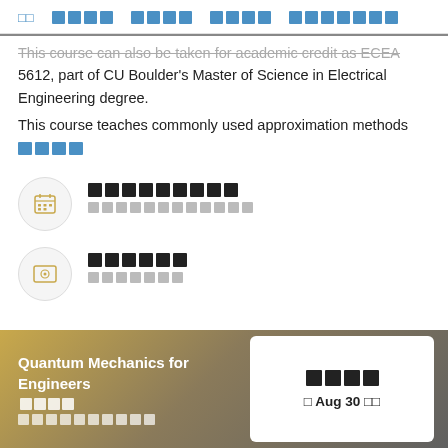□□  □□□□  □□□□  □□□□  □□□□□□□
This course can also be taken for academic credit as ECEA 5612, part of CU Boulder's Master of Science in Electrical Engineering degree.
This course teaches commonly used approximation methods
□□□□
[Figure (illustration): Calendar icon in circle with placeholder text for title and subtitle]
[Figure (illustration): Certificate/credential icon in circle with placeholder text for title and subtitle]
Quantum Mechanics for Engineers □□□□
□□□□□□□□□□
□□□□
□ Aug 30 □□